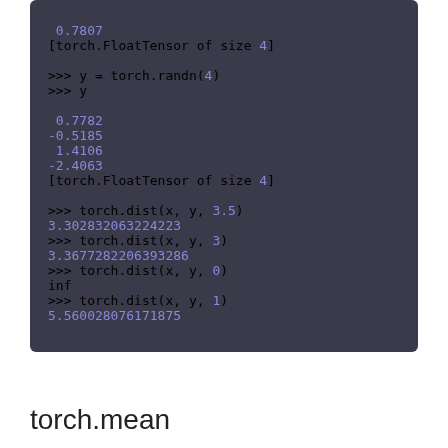Code block showing torch tensor operations and torch.dist calls with output values
torch.mean